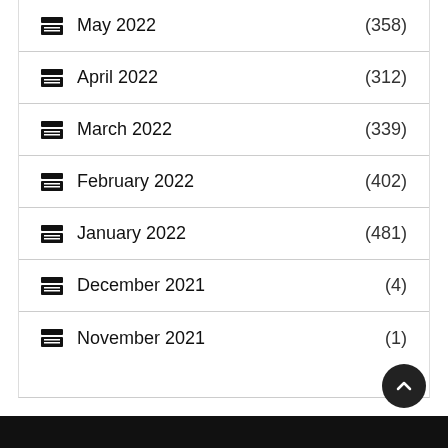May 2022 (358)
April 2022 (312)
March 2022 (339)
February 2022 (402)
January 2022 (481)
December 2021 (4)
November 2021 (1)